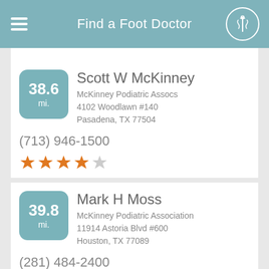Find a Foot Doctor
38.6 mi. — Scott W McKinney
McKinney Podiatric Assocs
4102 Woodlawn #140
Pasadena, TX 77504
(713) 946-1500
★★★★☆
39.8 mi. — Mark H Moss
McKinney Podiatric Association
11914 Astoria Blvd #600
Houston, TX 77089
(281) 484-2400
★★★★☆